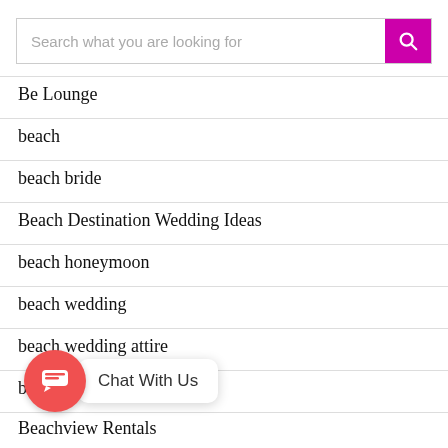[Figure (screenshot): Search bar with placeholder text 'Search what you are looking for' and a magenta search button with magnifying glass icon]
Be Lounge
beach
beach bride
Beach Destination Wedding Ideas
beach honeymoon
beach wedding
beach wedding attire
beach wedding dresses
Beachview Rentals
[Figure (screenshot): Chat With Us widget with red circular icon and speech bubble]